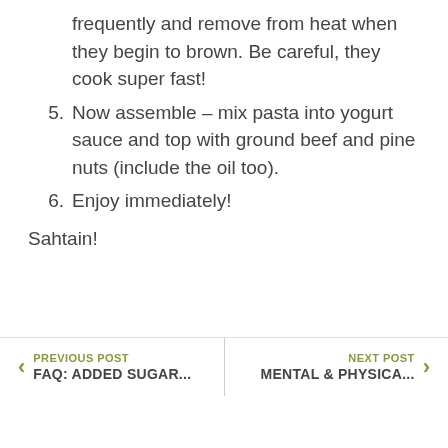frequently and remove from heat when they begin to brown. Be careful, they cook super fast!
5. Now assemble – mix pasta into yogurt sauce and top with ground beef and pine nuts (include the oil too).
6. Enjoy immediately!
Sahtain!
PREVIOUS POST FAQ: ADDED SUGAR... | NEXT POST MENTAL & PHYSICA...